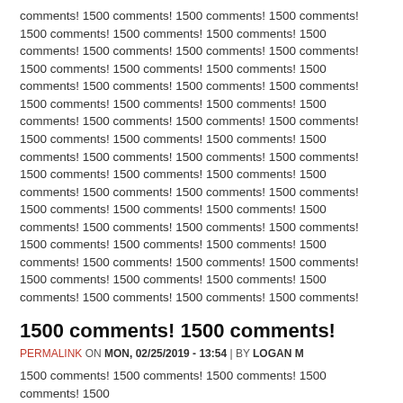comments! 1500 comments! 1500 comments! 1500 comments! 1500 comments! 1500 comments! 1500 comments! 1500 comments! 1500 comments! 1500 comments! 1500 comments! 1500 comments! 1500 comments! 1500 comments! 1500 comments! 1500 comments! 1500 comments! 1500 comments! 1500 comments! 1500 comments! 1500 comments! 1500 comments! 1500 comments! 1500 comments! 1500 comments! 1500 comments! 1500 comments! 1500 comments! 1500 comments! 1500 comments! 1500 comments! 1500 comments! 1500 comments! 1500 comments! 1500 comments! 1500 comments! 1500 comments! 1500 comments! 1500 comments! 1500 comments! 1500 comments! 1500 comments! 1500 comments! 1500 comments! 1500 comments! 1500 comments! 1500 comments! 1500 comments! 1500 comments! 1500 comments! 1500 comments! 1500 comments! 1500 comments! 1500 comments! 1500 comments! 1500 comments! 1500 comments! 1500 comments! 1500 comments! 1500 comments!
1500 comments! 1500 comments!
PERMALINK ON MON, 02/25/2019 - 13:54 | BY LOGAN M
1500 comments! 1500 comments! 1500 comments! 1500 comments! 1500